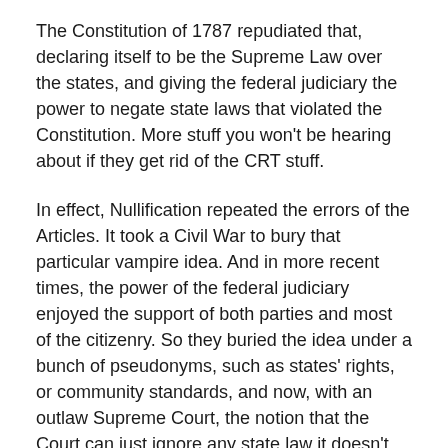The Constitution of 1787 repudiated that, declaring itself to be the Supreme Law over the states, and giving the federal judiciary the power to negate state laws that violated the Constitution. More stuff you won't be hearing about if they get rid of the CRT stuff.
In effect, Nullification repeated the errors of the Articles. It took a Civil War to bury that particular vampire idea. And in more recent times, the power of the federal judiciary enjoyed the support of both parties and most of the citizenry. So they buried the idea under a bunch of pseudonyms, such as states' rights, or community standards, and now, with an outlaw Supreme Court, the notion that the Court can just ignore any state law it doesn't want to consider, no matter how egregiously unconstitutional that law may be on the very face of it.
This court is the result of fascists, led by Mitch McConnell